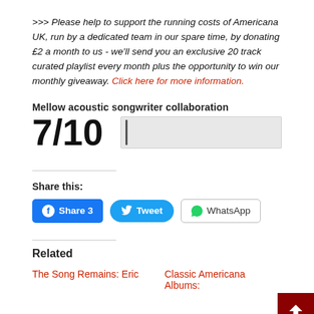>>> Please help to support the running costs of Americana UK, run by a dedicated team in our spare time, by donating £2 a month to us - we'll send you an exclusive 20 track curated playlist every month plus the opportunity to win our monthly giveaway. Click here for more information.
Mellow acoustic songwriter collaboration
7/10
Share this:
Share 3  Tweet  WhatsApp
Related
The Song Remains: Eric
Classic Americana Albums: